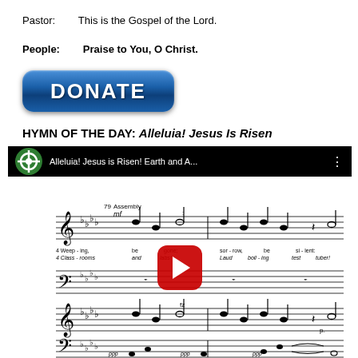Pastor:     This is the Gospel of the Lord.
People:     Praise to You, O Christ.
[Figure (illustration): Blue DONATE button with rounded corners and gradient]
HYMN OF THE DAY: Alleluia! Jesus Is Risen
[Figure (screenshot): YouTube video thumbnail showing sheet music for 'Alleluia! Jesus is Risen! Earth and A...' with a red YouTube play button overlay]